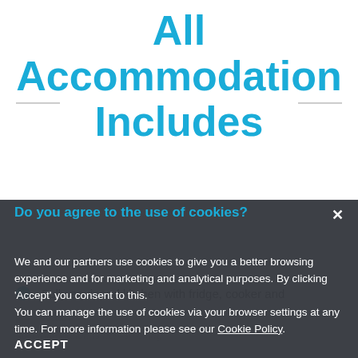All Accommodation Includes
Fully equipped kitchen with fridge, cooker and
Water
accommodation is non-smoking
Do you agree to the use of cookies?
We and our partners use cookies to give you a better browsing experience and for marketing and analytical purposes. By clicking 'Accept' you consent to this.
You can manage the use of cookies via your browser settings at any time. For more information please see our Cookie Policy
ACCEPT